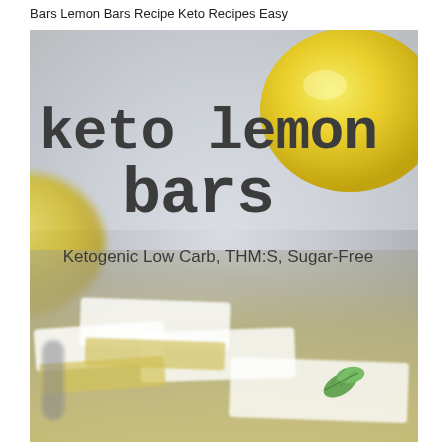Bars Lemon Bars Recipe Keto Recipes Easy
[Figure (photo): Photo of keto lemon bars dusted with powdered sugar on a plate, with a whole lemon in the background and a mint leaf garnish. Overlaid text reads 'keto lemon bars' and 'Ketogenic Low Carb, THM:S, Sugar-Free'.]